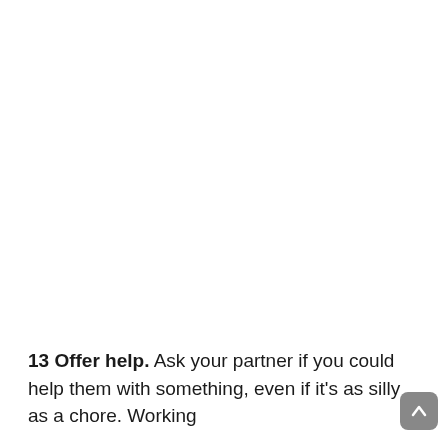13 Offer help. Ask your partner if you could help them with something, even if it's as silly as a chore. Working